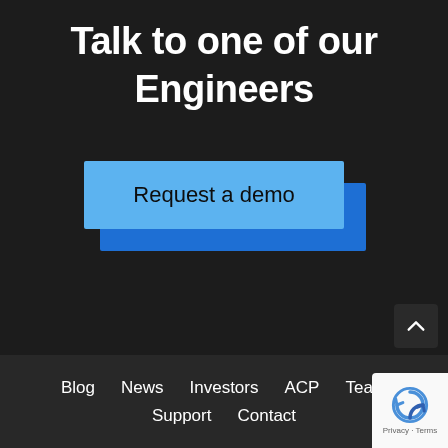Talk to one of our Engineers
Request a demo
Blog  News  Investors  ACP  Team  Support  Contact